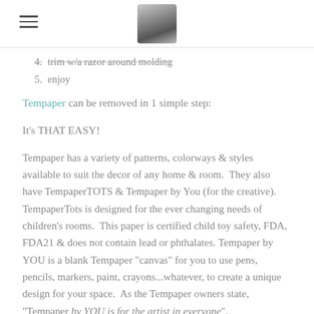[hamburger menu icon] [avatar photo]
4.  trim w/a razor around molding
5.  enjoy
Tempaper can be removed in 1 simple step:
It's THAT EASY!
Tempaper has a variety of patterns, colorways & styles available to suit the decor of any home & room.  They also have TempaperTOTS & Tempaper by You (for the creative).  TempaperTots is designed for the ever changing needs of children's rooms.  This paper is certified child toy safety, FDA, FDA21 & does not contain lead or phthalates. Tempaper by YOU is a blank Tempaper "canvas" for you to use pens, pencils, markers, paint, crayons...whatever, to create a unique design for your space.  As the Tempaper owners state, "Tempaper by YOU is for the artist in everyone".